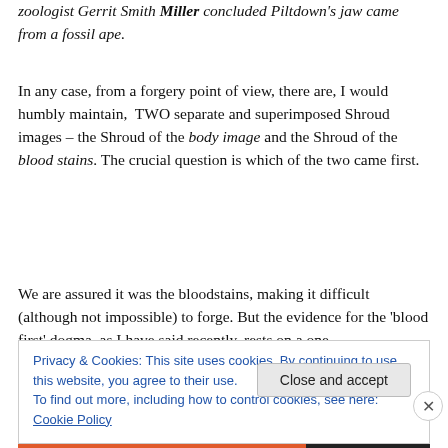zoologist Gerrit Smith Miller concluded Piltdown's jaw came from a fossil ape.
In any case, from a forgery point of view, there are, I would humbly maintain,  TWO separate and superimposed Shroud images – the Shroud of the body image and the Shroud of the blood stains. The crucial question is which of the two came first.
We are assured it was the bloodstains, making it difficult (although not impossible) to forge. But the evidence for the 'blood first' dogma, as I have said recently, rests on a one-
Privacy & Cookies: This site uses cookies. By continuing to use this website, you agree to their use.
To find out more, including how to control cookies, see here: Cookie Policy
Close and accept